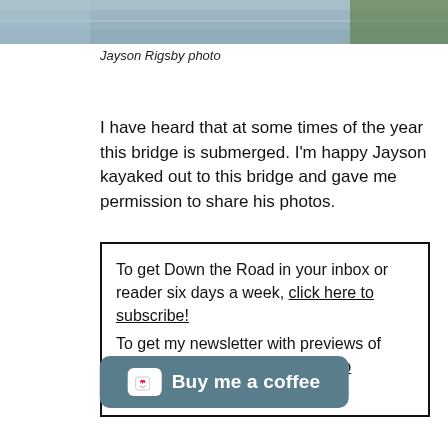[Figure (photo): Partial photo of a bridge or water scene, cropped at top of page]
Jayson Rigsby photo
I have heard that at some times of the year this bridge is submerged. I'm happy Jayson kayaked out to this bridge and gave me permission to share his photos.
To get Down the Road in your inbox or reader six days a week, click here to subscribe!
To get my newsletter with previews of what I'm working on, click here to subscribe!
[Figure (other): Buy me a coffee button with heart/coffee cup icon]